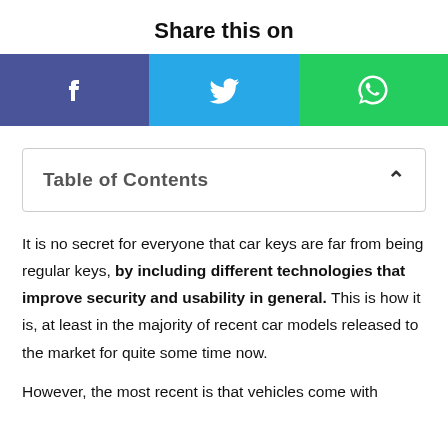Share this on
[Figure (infographic): Social share buttons: Facebook (purple-blue), Twitter (blue), WhatsApp (green), each with their respective icons]
Table of Contents
It is no secret for everyone that car keys are far from being regular keys, by including different technologies that improve security and usability in general. This is how it is, at least in the majority of recent car models released to the market for quite some time now.
However, the most recent is that vehicles come with